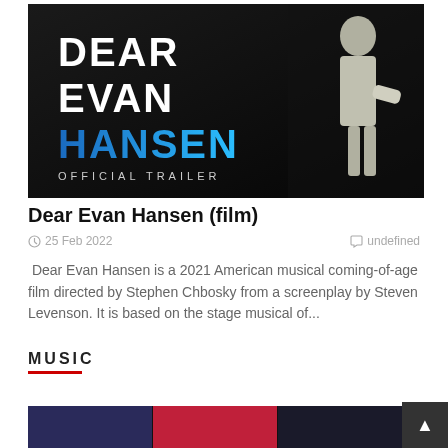[Figure (photo): Movie trailer thumbnail for Dear Evan Hansen showing the title text in white and blue on a dark background with a person silhouette on the right.]
Dear Evan Hansen (film)
25 Feb 2022   undefined
Dear Evan Hansen is a 2021 American musical coming-of-age film directed by Stephen Chbosky from a screenplay by Steven Levenson. It is based on the stage musical of...
MUSIC
[Figure (photo): Three tiled music-related thumbnail images at the bottom of the page.]